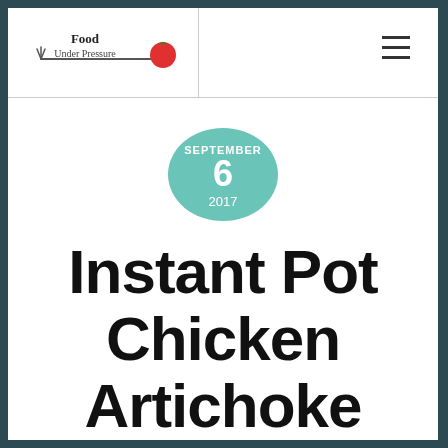Food Under Pressure
[Figure (logo): Food Under Pressure logo with handwritten text and a red tomato on a fork]
SEPTEMBER 6 2017
Instant Pot Chicken Artichoke